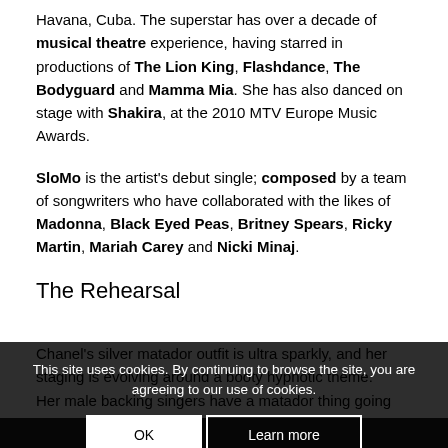Havana, Cuba. The superstar has over a decade of musical theatre experience, having starred in productions of The Lion King, Flashdance, The Bodyguard and Mamma Mia. She has also danced on stage with Shakira, at the 2010 MTV Europe Music Awards.
SloMo is the artist's debut single; composed by a team of songwriters who have collaborated with the likes of Madonna, Black Eyed Peas, Britney Spears, Ricky Martin, Mariah Carey and Nicki Minaj.
The Rehearsal
Chanel's silver matador outfit is ultra sparkly, and her staging is evolving around a booty hypnotic theme. Her male backing singers have a matador thing going on, with bare chests and capes that sparkle.
This site uses cookies. By continuing to browse the site, you are agreeing to our use of cookies.